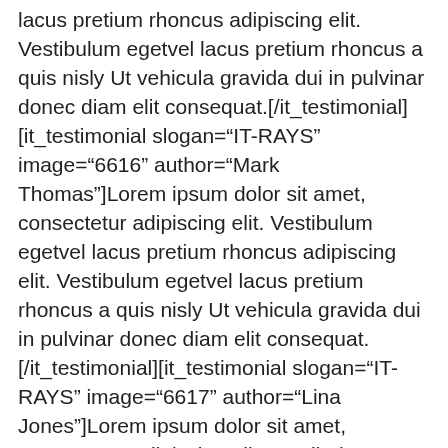lacus pretium rhoncus adipiscing elit. Vestibulum egetvel lacus pretium rhoncus a quis nisly Ut vehicula gravida dui in pulvinar donec diam elit consequat.[/it_testimonial][it_testimonial slogan="IT-RAYS" image="6616" author="Mark Thomas"]Lorem ipsum dolor sit amet, consectetur adipiscing elit. Vestibulum egetvel lacus pretium rhoncus adipiscing elit. Vestibulum egetvel lacus pretium rhoncus a quis nisly Ut vehicula gravida dui in pulvinar donec diam elit consequat.[/it_testimonial][it_testimonial slogan="IT-RAYS" image="6617" author="Lina Jones"]Lorem ipsum dolor sit amet, consectetur adipiscing elit. Vestibulum egetvel lacus pretium rhoncus adipiscing elit. Vestibulum egetvel lacus pretium rhoncus a quis nisly Ut vehicula gravida dui in pulvinar donec diam elit consequat.[/it_testimonial][/vc_testimonials][/vc_column][/vc_row][vc_row fluid="1" full_content="1" equal_height="yes" row_padd="no-padding"][vc_column width="1/2" css=".vc_custom_1449284687126{background-image: url(https://www.warungaqiqah.id/wp-